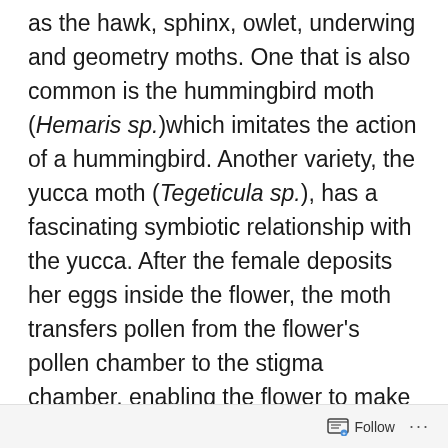as the hawk, sphinx, owlet, underwing and geometry moths. One that is also common is the hummingbird moth (Hemaris sp.)which imitates the action of a hummingbird. Another variety, the yucca moth (Tegeticula sp.), has a fascinating symbiotic relationship with the yucca. After the female deposits her eggs inside the flower, the moth transfers pollen from the flower's pollen chamber to the stigma chamber, enabling the flower to make seeds. This is in perfect timing with the hatching of the moth's hatching, which feed on the seeds the mother moth made possible
Follow ···